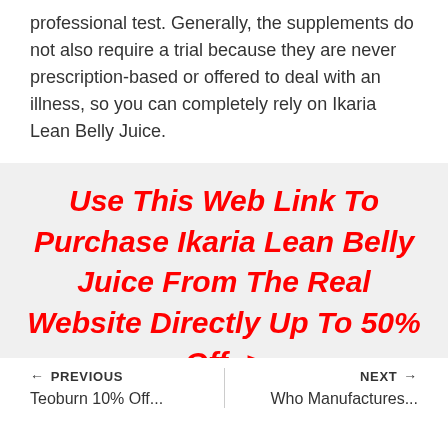professional test. Generally, the supplements do not also require a trial because they are never prescription-based or offered to deal with an illness, so you can completely rely on Ikaria Lean Belly Juice.
Use This Web Link To Purchase Ikaria Lean Belly Juice From The Real Website Directly Up To 50% Off ->
← PREVIOUS
Teoburn 10% Off...
NEXT →
Who Manufactures...